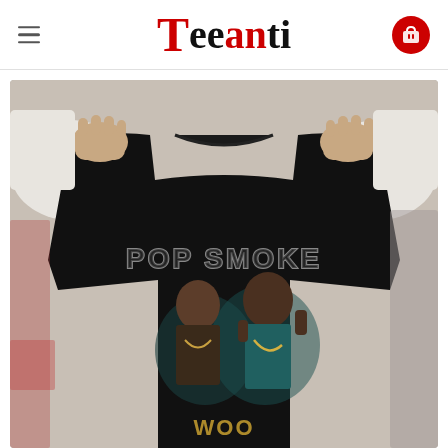Teeanti
[Figure (photo): Woman holding up a black t-shirt featuring 'POP SMOKE' graphic print with two portrait images of the artist and text at the bottom, held up against a blurred background.]